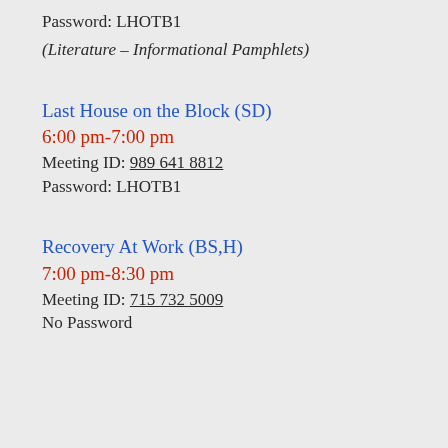Password: LHOTB1
(Literature – Informational Pamphlets)
Last House on the Block (SD)
6:00 pm-7:00 pm
Meeting ID: 989 641 8812
Password: LHOTB1
Recovery At Work (BS,H)
7:00 pm-8:30 pm
Meeting ID: 715 732 5009
No Password